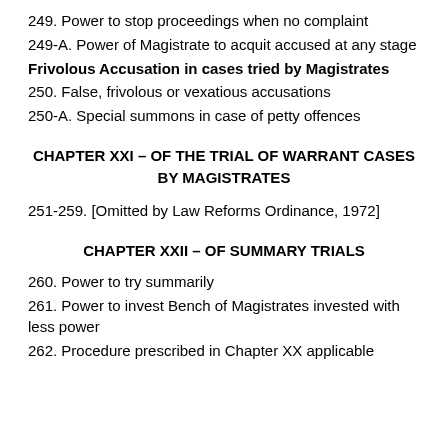249. Power to stop proceedings when no complaint
249-A. Power of Magistrate to acquit accused at any stage
Frivolous Accusation in cases tried by Magistrates
250. False, frivolous or vexatious accusations
250-A. Special summons in case of petty offences
CHAPTER XXI – OF THE TRIAL OF WARRANT CASES BY MAGISTRATES
251-259. [Omitted by Law Reforms Ordinance, 1972]
CHAPTER XXII – OF SUMMARY TRIALS
260. Power to try summarily
261. Power to invest Bench of Magistrates invested with less power
262. Procedure prescribed in Chapter XX applicable